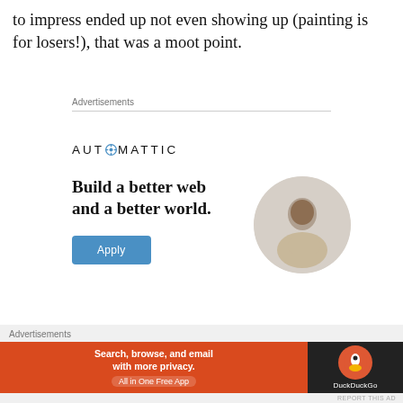to impress ended up not even showing up (painting is for losers!), that was a moot point.
Advertisements
[Figure (screenshot): Automattic advertisement: logo with 'AUTOMATTIC' text and compass icon, tagline 'Build a better web and a better world.', blue Apply button, circular photo of a person thinking.]
REPORT THIS AD
Advertisements
[Figure (screenshot): DuckDuckGo advertisement banner: orange background with text 'Search, browse, and email with more privacy. All in One Free App', and DuckDuckGo logo on dark background.]
REPORT THIS AD